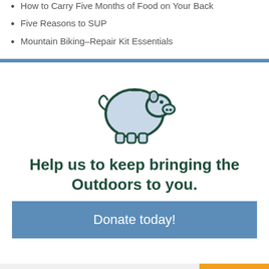How to Carry Five Months of Food on Your Back
Five Reasons to SUP
Mountain Biking–Repair Kit Essentials
[Figure (illustration): Piggy bank icon with light blue fill and dark green outline]
Help us to keep bringing the Outdoors to you.
Donate today!
SIGN UP FOR GUIDE U